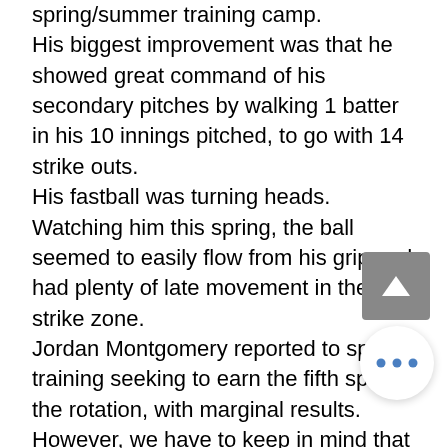spring/summer training camp.
His biggest improvement was that he showed great command of his secondary pitches by walking 1 batter in his 10 innings pitched, to go with 14 strike outs.
His fastball was turning heads. Watching him this spring, the ball seemed to easily flow from his grip and had plenty of late movement in the strike zone.
Jordan Montgomery reported to spring training seeking to earn the fifth spot in the rotation, with marginal results. However, we have to keep in mind that Montgomery hadn't pitched since early 2018. Before camp was shut down, Monty pitched in 4 games, went 0 with a 4.09 ERA, giving up seven h... five runs, and four home runs in ...